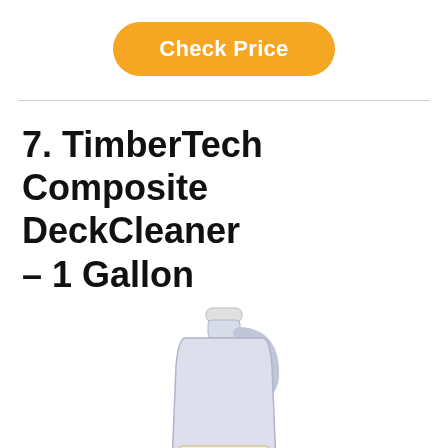Check Price
7. TimberTech Composite DeckCleaner – 1 Gallon
[Figure (photo): A 1-gallon white plastic jug of TimberTech Composite DeckCleaner with a handle, white cap, and TimberTech logo label at the bottom]